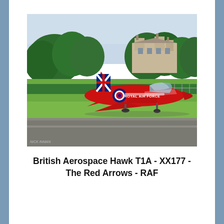[Figure (photo): A bright red British Aerospace Hawk T1A jet aircraft (serial XX177) of the RAF Red Arrows display team taxiing on a runway. The aircraft has a Union Jack on its tail fin and 'Royal Air Force' markings on the fuselage. Background shows green trees, a large stone manor house, and a blue sky. Photographer watermark visible in the lower left corner.]
British Aerospace Hawk T1A - XX177 - The Red Arrows - RAF